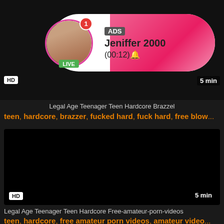[Figure (screenshot): Video thumbnail - dark/black background with HD badge and 5 min duration, with advertisement overlay bubble showing profile avatar with LIVE badge, notification badge, ADS label, name Jeniffer 2000, and time (00:12)]
Legal Age Teenager Teen Hardcore Brazzel
teen, hardcore, brazzer, fucked hard, fuck hard, free blow...
[Figure (screenshot): Second video thumbnail - black background with HD badge and 5 min duration label]
Legal Age Teenager Teen Hardcore Free-amateur-porn-videos
teen, hardcore, free amateur porn videos, amateur video...